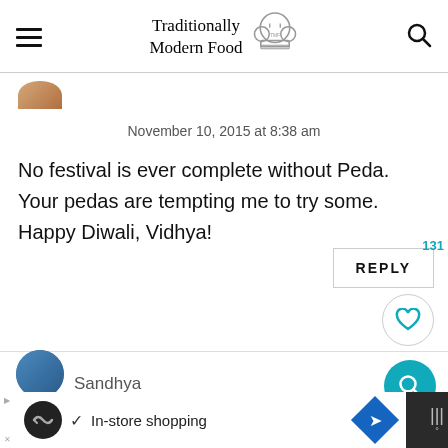Traditionally Modern Food
[Figure (photo): Partial avatar/profile photo of commenter at top]
November 10, 2015 at 8:38 am
No festival is ever complete without Peda. Your pedas are tempting me to try some. Happy Diwali, Vidhya!
[Figure (other): REPLY button with like count 131 and heart icon circle]
[Figure (other): Cyan search FAB button]
[Figure (photo): Next commenter avatar circle (blue-tinted) with partial name Sandhya]
[Figure (other): Ad bar at bottom: In-store shopping advertisement with logo and navigation icon]